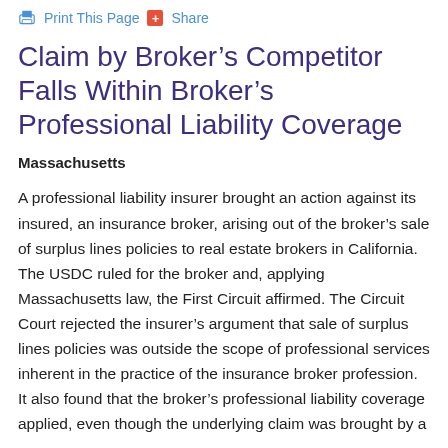Print This Page  Share
Claim by Broker’s Competitor Falls Within Broker’s Professional Liability Coverage
Massachusetts
A professional liability insurer brought an action against its insured, an insurance broker, arising out of the broker’s sale of surplus lines policies to real estate brokers in California. The USDC ruled for the broker and, applying Massachusetts law, the First Circuit affirmed. The Circuit Court rejected the insurer’s argument that sale of surplus lines policies was outside the scope of professional services inherent in the practice of the insurance broker profession. It also found that the broker’s professional liability coverage applied, even though the underlying claim was brought by a